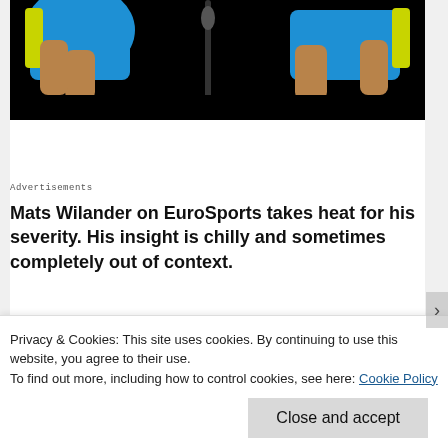[Figure (photo): Photo of people in blue sports shirts/jerseys, arms visible, microphone visible, black background at bottom]
Advertisements
Mats Wilander on EuroSports takes heat for his severity. His insight is chilly and sometimes completely out of context.
Privacy & Cookies: This site uses cookies. By continuing to use this website, you agree to their use.
To find out more, including how to control cookies, see here: Cookie Policy
Close and accept